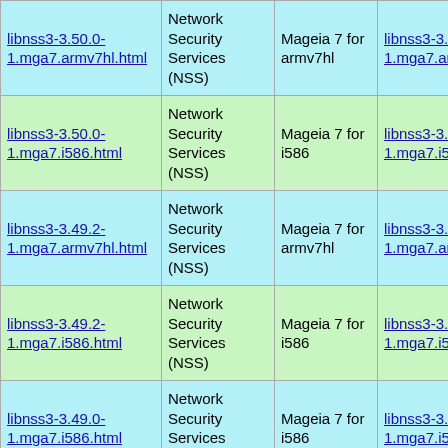| libnss3-3.50.0-1.mga7.armv7hl.html | Network Security Services (NSS) | Mageia 7 for armv7hl | libnss3-3.50.0-1.mga7.armv7hl.rpm |
| libnss3-3.50.0-1.mga7.i586.html | Network Security Services (NSS) | Mageia 7 for i586 | libnss3-3.50.0-1.mga7.i586.rpm |
| libnss3-3.49.2-1.mga7.armv7hl.html | Network Security Services (NSS) | Mageia 7 for armv7hl | libnss3-3.49.2-1.mga7.armv7hl.rpm |
| libnss3-3.49.2-1.mga7.i586.html | Network Security Services (NSS) | Mageia 7 for i586 | libnss3-3.49.2-1.mga7.i586.rpm |
| libnss3-3.49.0-1.mga7.i586.html | Network Security Services (NSS) | Mageia 7 for i586 | libnss3-3.49.0-1.mga7.i586.rpm |
| libnss3-3.47.1-1.mga7.armv7hl.html | Network Security Services (NSS) | Mageia 7 for armv7hl | libnss3-3.47.1-1.mga7.armv7hl.rpm |